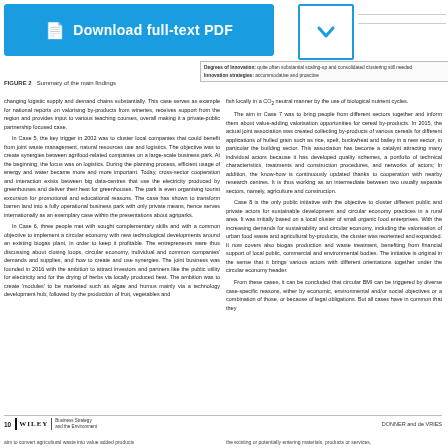[Figure (other): Blue download button with text 'Download full-text PDF' and a document icon]
[Figure (other): Dropdown chevron button box in blue outline]
Degrees of Innovation: quite often substantial scaling-up and consolidated clustering still needed
Innovation strategies: accommodative and proactive
FIGURE 2   Summary of the main findings
changing logistic supply and demand chains substantially. This case serves as example for national reports on valorising by-products from wineries, receives support from the region and provides input to various teaching courses, overall making it a private-public partnership focused case.
    In Case 5, the key trigger in 2002 was to cluster local companies that could benefit from joint waste management, natural resources use and logistics. The objective was to create synergies between agrifood-related companies on a large-scale business park. At the beginning, the focus was on logistics. During the planning process, efficient usage of energy and water became more and more important. Today, cross-sector cooperation and interaction exists between big data-centres that use the electricity produced by greenhouses and deliver their heat for greenhouses. The park is even organising tourist excursion for promotional and educational reasons. The case has shown to transform barren land into a fully operational business park with only private means, hence serves internationally as an exemplary case within the presentations about agriparks.
    In Case 6, three people met with sought complementary skills and with a common objective to implement a circular economy with new technological developments around an existing biogas plant, in order to keep it profitable. The entrepreneurs were thus discussing about closing loops, circular economy, individual and common companies' demands and supplies, and how to create and use synergies. The joint business was founded in 2016 with the ambition to attract investors and partners like the public utility for electricity and for the drying of herbs via locally produced heat. The ambition was to create 'modules' to be marketed such as algae and humus mainly via a technology development hub, followed by the production of fruit, vegetables and
fish locally in a CO₂ neutral manner by the use of biological nutrient cycles.
    The aim in Case 7 was to bring people from different sectors together and inform them about value-adding valorisation opportunities for cereal by-products. In 2015, the actual joint association was created collecting by-products of various cereals for different applications of hulled grain such as rice, spelt, buckwheat and bailey in a new sector, in particular the building sector. This association has become a catalyst attracting many individual actors because it has developed quality schemes, a portfolio of technical characteristics, treatments and construction procedures, and networks of actors; In addition, the know-how is continuously updated thanks to cooperation with nearby research centres. It is thus working as an intermediate between two usually separate sectors, namely, agriculture and construction.
    Case 8 is the only public initiative with the objective to cluster different public and private actors for sustainable development and circular economy practices in a rural area. It was initially based on a local cluster of small organic food enterprises. With the increasing demands for sustainability and circular economy, including the valorisation of urban food waste and agricultural by-products, the cluster was reoriented and expanded. It now covers also biogas production and waste treatment, benefiting from financial support of local public, commercial and environmental bodies. The initiative is original in the sense that it brings various actors with different orientations together under the circular economy header.
    From these cases, it can be concluded that circular BMI can be triggered by diverse case-specific reasons, either by economic, environmental and/or social objectives or a combination of those, or because of legal obligations. But all cases have in common that they
10   WILEY   Business Strategy and the Environment   DONNER and de VRIES
aim to convert agricultural waste into value added products
the existing or potentially entering materials, products or services,